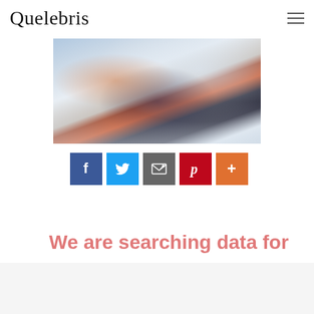Quelebris
[Figure (photo): A skier in a red jacket and helmet skiing down a snowy slope with snow spray around them]
[Figure (infographic): Row of five social media sharing buttons: Facebook (blue), Twitter (light blue), Email/share (gray), Pinterest (red), More/plus (orange)]
We are searching data for